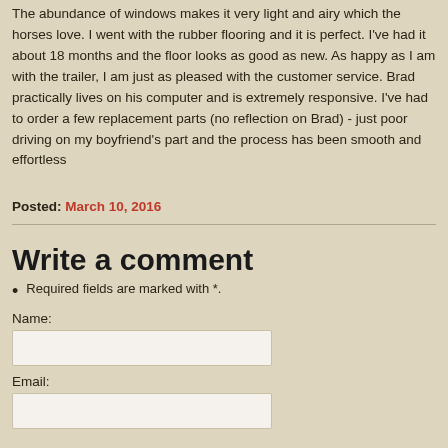The abundance of windows makes it very light and airy which the horses love. I went with the rubber flooring and it is perfect. I've had it about 18 months and the floor looks as good as new. As happy as I am with the trailer, I am just as pleased with the customer service. Brad practically lives on his computer and is extremely responsive. I've had to order a few replacement parts (no reflection on Brad) - just poor driving on my boyfriend's part and the process has been smooth and effortless
Posted: March 10, 2016
Write a comment
Required fields are marked with *.
Name:
Email: